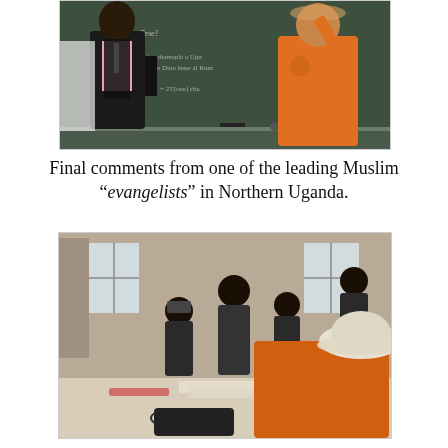[Figure (photo): Two men standing in front of a chalkboard. One man in a black vest and pink shirt, another in an orange shirt pointing at the board with writing on it.]
Final comments from one of the leading Muslim “evangelists” in Northern Uganda.
[Figure (photo): A group of men seated around a table in a room with two windows. A man in an orange shirt and wide-brimmed hat is seen from behind in the foreground.]